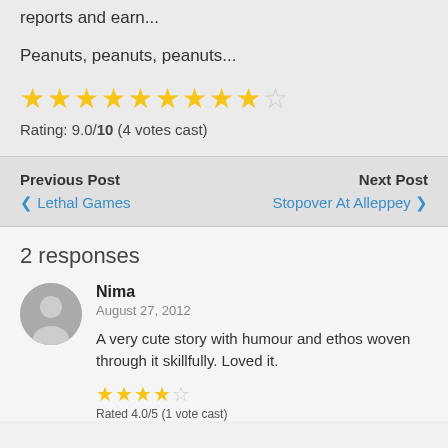reports and earn...
Peanuts, peanuts, peanuts...
[Figure (other): Star rating: 9 filled stars and 1 empty star out of 10]
Rating: 9.0/10 (4 votes cast)
Previous Post
< Lethal Games
Next Post
Stopover At Alleppey >
2 responses
Nima
August 27, 2012
A very cute story with humour and ethos woven through it skillfully. Loved it.
[Figure (other): Small star rating: 4 filled stars and 1 empty star]
Rated 4.0/5 (1 vote cast)